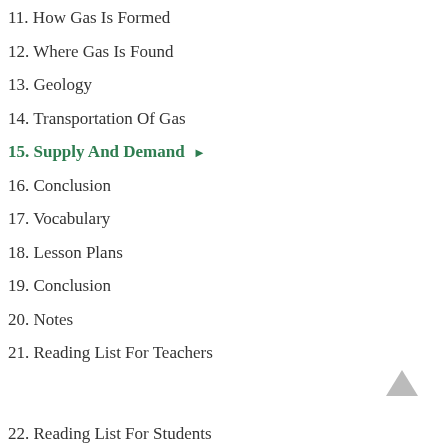11. How Gas Is Formed
12. Where Gas Is Found
13. Geology
14. Transportation Of Gas
15. Supply And Demand ▶
16. Conclusion
17. Vocabulary
18. Lesson Plans
19. Conclusion
20. Notes
21. Reading List For Teachers
22. Reading List For Students